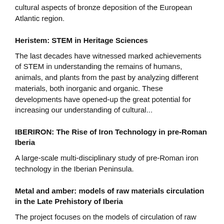cultural aspects of bronze deposition of the European Atlantic region.
Heristem: STEM in Heritage Sciences
The last decades have witnessed marked achievements of STEM in understanding the remains of humans, animals, and plants from the past by analyzing different materials, both inorganic and organic. These developments have opened-up the great potential for increasing our understanding of cultural...
IBERIRON: The Rise of Iron Technology in pre-Roman Iberia
A large-scale multi-disciplinary study of pre-Roman iron technology in the Iberian Peninsula.
Metal and amber: models of raw materials circulation in the Late Prehistory of Iberia
The project focuses on the models of circulation of raw